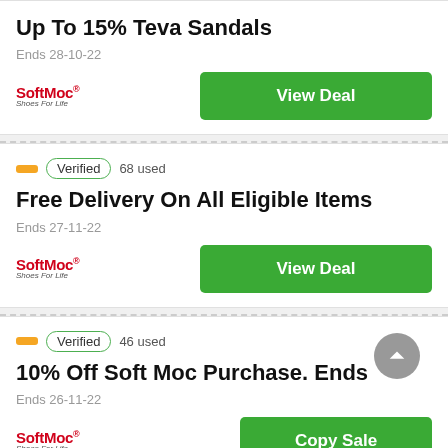Up To 15% Teva Sandals
Ends 28-10-22
[Figure (logo): SoftMoc logo with tagline 'Shoes For Life']
View Deal
Verified  68 used
Free Delivery On All Eligible Items
Ends 27-11-22
[Figure (logo): SoftMoc logo with tagline 'Shoes For Life']
View Deal
Verified  46 used
10% Off Soft Moc Purchase. Ends
Ends 26-11-22
[Figure (logo): SoftMoc logo with tagline 'Shoes For Life']
Copy Sale